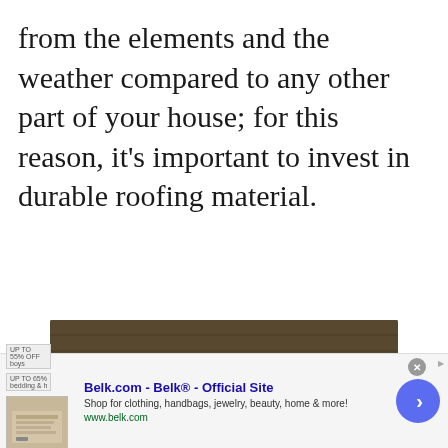from the elements and the weather compared to any other part of your house; for this reason, it's important to invest in durable roofing material.
[Figure (screenshot): Video player showing roofing/shingles with a ladder, displaying error message 'No compatible source was found for this media.' with an X icon overlaid.]
[Figure (screenshot): Advertisement banner for Belk.com - Belk® - Official Site. Shows 'Shop for clothing, handbags, jewelry, beauty, home & more!' and 'www.belk.com' with product image thumbnail and navigation arrow.]